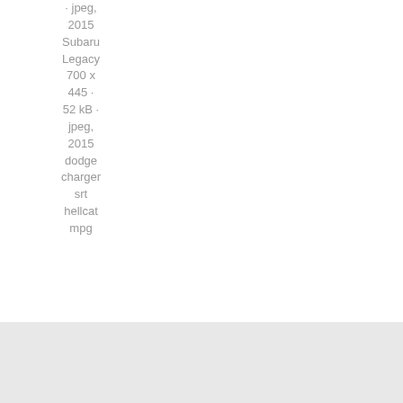· jpeg, 2015 Subaru Legacy 700 x 445 · 52 kB · jpeg, 2015 dodge charger srt hellcat mpg
[Figure (other): Light gray footer bar with a blue Share button]